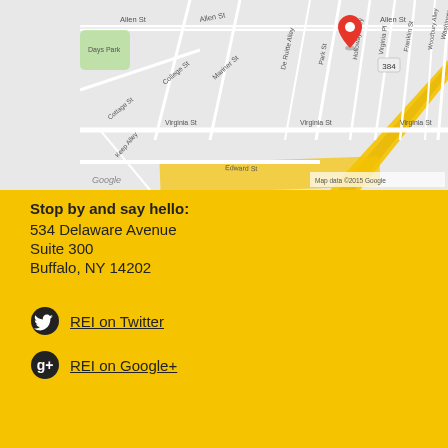[Figure (map): Google Maps street map showing the area around 534 Delaware Avenue, Buffalo, NY. Streets visible include Allen St, Virginia St, Edward St, Park St, Holloway Alley, De Ruitte Alley, Mariner St, College St, Cottage St, Keep Alley, Franklin St, Woodbury Alley, Washington St. A red location pin marks the destination. Map data copyright 2015 Google.]
Stop by and say hello:
534 Delaware Avenue
Suite 300
Buffalo, NY 14202
REI on Twitter
REI on Google+